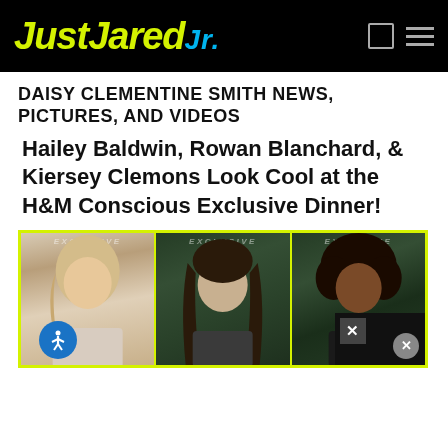Just Jared Jr.
DAISY CLEMENTINE SMITH NEWS, PICTURES, AND VIDEOS
Hailey Baldwin, Rowan Blanchard, & Kiersey Clemons Look Cool at the H&M Conscious Exclusive Dinner!
[Figure (photo): Three-panel photo strip showing Hailey Baldwin, Rowan Blanchard, and Kiersey Clemons at the H&M Conscious Exclusive Dinner, with a yellow-green border. A dark overlay popup with an X button appears in the lower right of the image.]